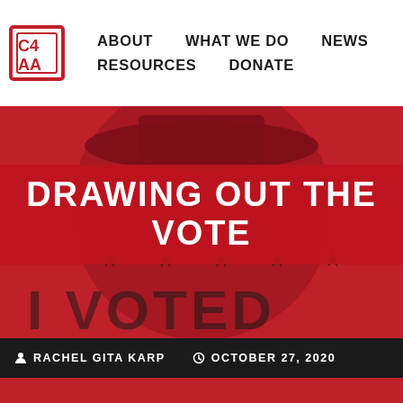ABOUT   WHAT WE DO   NEWS   RESOURCES   DONATE
[Figure (illustration): Red background hero image with a dark red 'I Voted' button/badge illustration showing stars and a hat, with the text 'I VOTED' partially visible at the bottom]
DRAWING OUT THE VOTE
RACHEL GITA KARP   OCTOBER 27, 2020